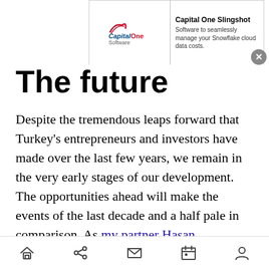[Figure (screenshot): Capital One Slingshot advertisement banner. Logo on left with 'CapitalOne Software' text, right side reads 'Capital One Slingshot - Software to seamlessly manage your Snowflake cloud data costs.' with a close (X) button.]
The future
Despite the tremendous leaps forward that Turkey’s entrepreneurs and investors have made over the last few years, we remain in the very early stages of our development. The opportunities ahead will make the events of the last decade and a half pale in comparison. As my partner Hasan commented at one of Turkey’s largest Internet conferences, Startup Turkey, earlier this year, “One day we will have many unicorn companies. The question is, how soon it will be.” Startup Turkey is hosted by Etohum (where we’re
Home | Share | Mail | Calendar | Profile